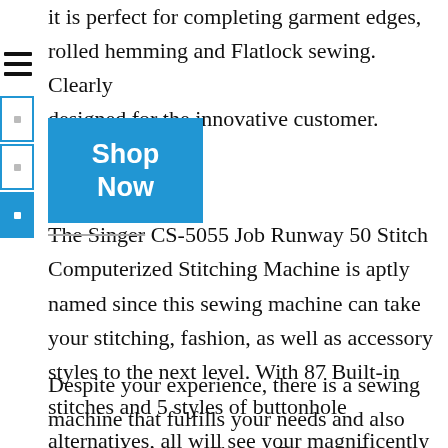it is perfect for completing garment edges, rolled hemming and Flatlock sewing. Clearly designed for the innovative customer.
[Figure (other): Shop Now button (blue rectangle with white bold text)]
The Singer CS-5055 Job Runway 50 Stitch Computerized Stitching Machine is aptly named since this sewing machine can take your stitching, fashion, as well as accessory styles to the next level. With 87 Built-in stitches and 5 styles of buttonhole alternatives, all will see your magnificently motivated original styles.
Despite your experience, there is a sewing machine that fulfills your needs and also your budget plan. Singer, Bernina, Brother as well as